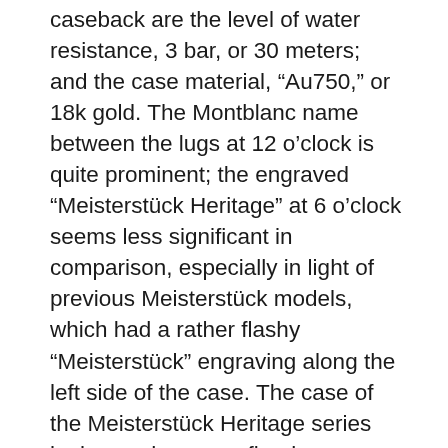caseback are the level of water resistance, 3 bar, or 30 meters; and the case material, “Au750,” or 18k gold. The Montblanc name between the lugs at 12 o’clock is quite prominent; the engraved “Meisterstück Heritage” at 6 o’clock seems less significant in comparison, especially in light of previous Meisterstück models, which had a rather flashy “Meisterstück” engraving along the left side of the case. The case of the Meisterstück Heritage series looks much more refined.
Several inset buttons on both sides of the case are used to adjust the calendar mechanism. One button near 4 o’clock advances the moon-phase display, while another near 8 o’clock is used for the day of the week, and the one between 10 and 11 o’clock is used for the month display. A button at 10 o’clock advances the date and day simultaneously. If these indications are not in sync, you must first set the date and then the day using the button at 8 o’clock. The crown, of a new design, shows the Montblanc star in elegant polished relief on a matte sandblasted background instead of as a white inlay, as